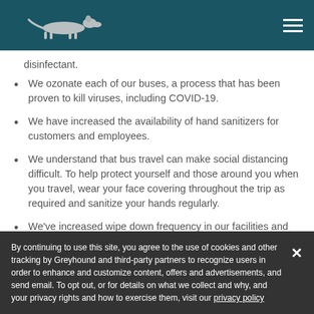Greyhound header with logo and navigation
disinfectant.
We ozonate each of our buses, a process that has been proven to kill viruses, including COVID-19.
We have increased the availability of hand sanitizers for customers and employees.
We understand that bus travel can make social distancing difficult. To help protect yourself and those around you when you travel, wear your face covering throughout the trip as required and sanitize your hands regularly.
We've increased wipe down frequency in our facilities and onboard to ensure better protection at
By continuing to use this site, you agree to the use of cookies and other tracking by Greyhound and third-party partners to recognize users in order to enhance and customize content, offers and advertisements, and send email. To opt out, or for details on what we collect and why, and your privacy rights and how to exercise them, visit our privacy policy